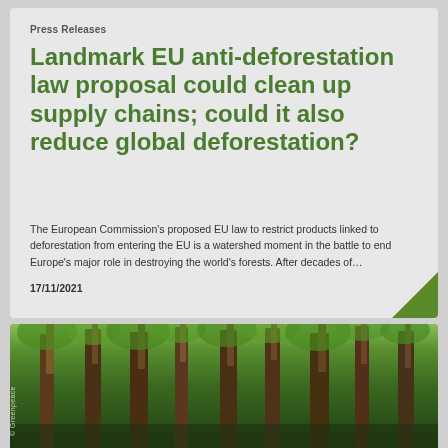Press Releases
Landmark EU anti-deforestation law proposal could clean up supply chains; could it also reduce global deforestation?
The European Commission's proposed EU law to restrict products linked to deforestation from entering the EU is a watershed moment in the battle to end Europe's major role in destroying the world's forests. After decades of…
17/11/2021
[Figure (photo): Forest photo showing tall tree trunks with green canopy, with a Greenpeace watermark on the left side.]